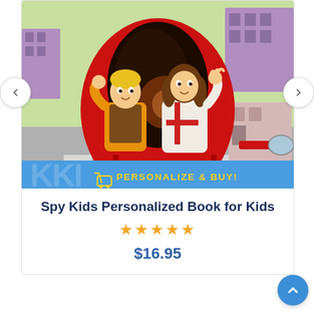[Figure (illustration): Book cover illustration of Spy Kids Personalized Book showing two children — a boy with yellow hair in a brown jacket and a girl with brown hair in a white shirt — waving from inside a red futuristic helicopter/vehicle cockpit, flying over a stylized cartoon neighborhood with purple buildings and green trees. A 'PERSONALIZE & BUY!' button bar with blue background and yellow text overlays the bottom of the image.]
Spy Kids Personalized Book for Kids
★★★★★
$16.95